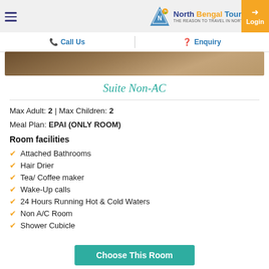North Bengal Tourism® — THE REASON TO TRAVEL IN NORTH BENGAL | Call Us | Enquiry | Login
[Figure (photo): Room interior photo strip showing wooden floor and carpet area]
Suite Non-AC
Max Adult: 2 | Max Children: 2
Meal Plan: EPAI (ONLY ROOM)
Room facilities
Attached Bathrooms
Hair Drier
Tea/ Coffee maker
Wake-Up calls
24 Hours Running Hot & Cold Waters
Non A/C Room
Shower Cubicle
Choose This Room